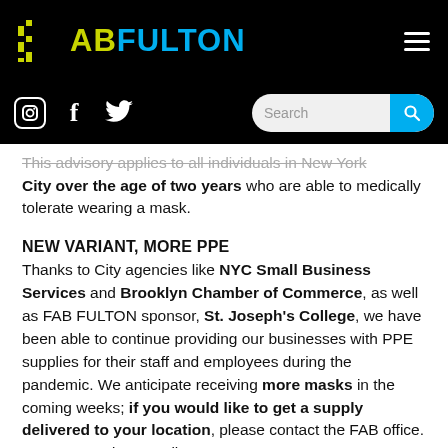FAB FULTON
This advisory applies to all individuals in New York City over the age of two years who are able to medically tolerate wearing a mask.
NEW VARIANT, MORE PPE
Thanks to City agencies like NYC Small Business Services and Brooklyn Chamber of Commerce, as well as FAB FULTON sponsor, St. Joseph's College, we have been able to continue providing our businesses with PPE supplies for their staff and employees during the pandemic. We anticipate receiving more masks in the coming weeks; if you would like to get a supply delivered to your location, please contact the FAB office. You can send an email to